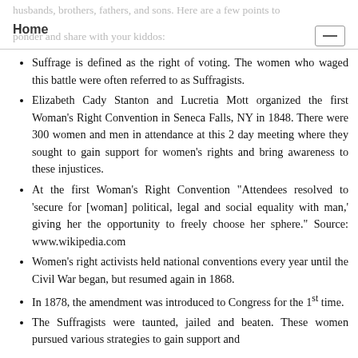Home
husbands, brothers, fathers, and sons. Here are a few points to ponder and share with your kiddos:
Suffrage is defined as the right of voting. The women who waged this battle were often referred to as Suffragists.
Elizabeth Cady Stanton and Lucretia Mott organized the first Woman's Right Convention in Seneca Falls, NY in 1848. There were 300 women and men in attendance at this 2 day meeting where they sought to gain support for women's rights and bring awareness to these injustices.
At the first Woman's Right Convention "Attendees resolved to 'secure for [woman] political, legal and social equality with man,' giving her the opportunity to freely choose her sphere." Source: www.wikipedia.com
Women's right activists held national conventions every year until the Civil War began, but resumed again in 1868.
In 1878, the amendment was introduced to Congress for the 1st time.
The Suffragists were taunted, jailed and beaten. These women pursued various strategies to gain support and